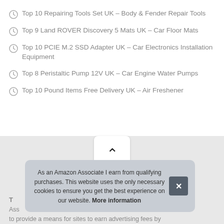Top 10 Repairing Tools Set UK – Body & Fender Repair Tools
Top 9 Land ROVER Discovery 5 Mats UK – Car Floor Mats
Top 10 PCIE M.2 SSD Adapter UK – Car Electronics Installation Equipment
Top 8 Peristaltic Pump 12V UK – Car Engine Water Pumps
Top 10 Pound Items Free Delivery UK – Air Freshener
[Figure (other): Scroll-to-top button with upward chevron arrow]
As an Amazon Associate I earn from qualifying purchases. This website uses the only necessary cookies to ensure you get the best experience on our website. More information
T... Ass... to provide a means for sites to earn advertising fees by